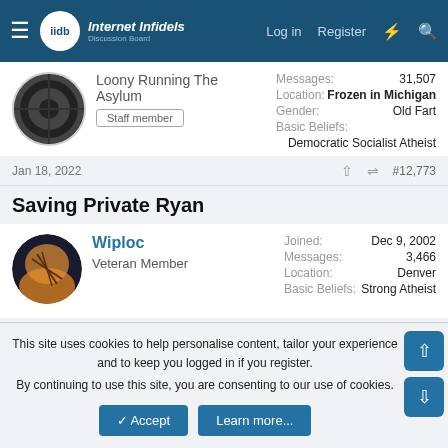Internet Infidels - Log in | Register
Loony Running The Asylum
Staff member
Messages: 31,507
Location: Frozen in Michigan
Gender: Old Fart
Basic Beliefs: Democratic Socialist Atheist
Jan 18, 2022  #12,773
Saving Private Ryan
Wiploc
Veteran Member
Joined: Dec 9, 2002
Messages: 3,466
Location: Denver
Basic Beliefs: Strong Atheist
Jan 18, 2022  #12,774
This site uses cookies to help personalise content, tailor your experience and keep you logged in if you register.
By continuing to use this site, you are consenting to our use of cookies.